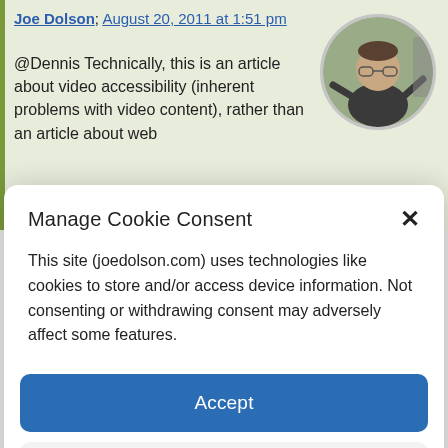Joe Dolson; August 20, 2011 at 1:51 pm
@Dennis Technically, this is an article about video accessibility (inherent problems with video content), rather than an article about web
[Figure (photo): Circular avatar photo of Joe Dolson, a man with glasses gesturing while speaking]
Manage Cookie Consent
This site (joedolson.com) uses technologies like cookies to store and/or access device information. Not consenting or withdrawing consent may adversely affect some features.
Accept
Deny
View preferences
Cookie Policy  Privacy Policy